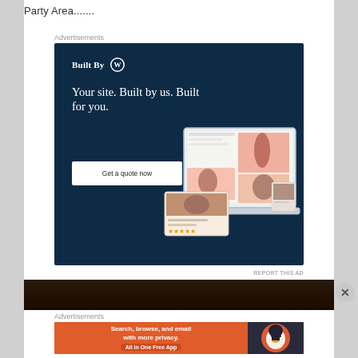Party Area.......
Advertisements
[Figure (screenshot): WordPress 'Built By WP' advertisement. Dark navy blue background. Top-left: 'Built By W' logo with WordPress circle icon. Large white serif text: 'Your site. Built by us. Built for you.' White button: 'Get a quote now'. Right side shows laptop/website mockup with photography website screenshots.]
REPORT THIS AD
[Figure (photo): Dark/night photograph strip, partially visible]
Advertisements
[Figure (screenshot): DuckDuckGo advertisement. Left side orange/red background with white bold text: 'Search, browse, and email with more privacy.' and orange pill button 'All in One Free App'. Right side dark background with DuckDuckGo duck logo.]